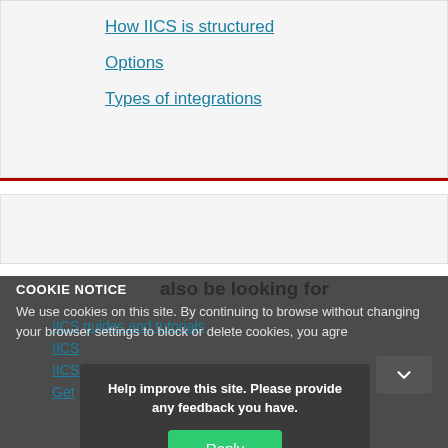How IICS is structured
Options
Types of integrations
also be looking for
IICS guides and tutorials
IICS
IICS
Get
COOKIE NOTICE
We use cookies on this site. By continuing to browse without changing your browser settings to block or delete cookies, you agre
Help improve this site. Please provide any feedback you have.
Reply